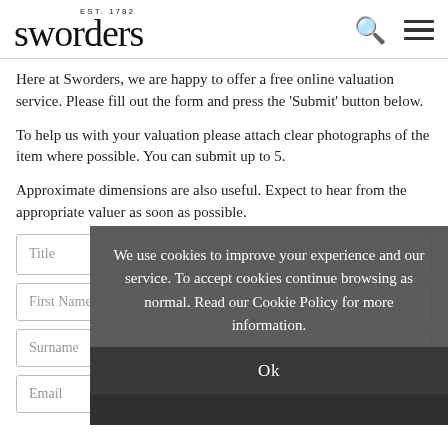EST. 1782 sworders
Here at Sworders, we are happy to offer a free online valuation service. Please fill out the form and press the 'Submit' button below.
To help us with your valuation please attach clear photographs of the item where possible. You can submit up to 5.
Approximate dimensions are also useful. Expect to hear from the appropriate valuer as soon as possible.
[Figure (screenshot): Cookie consent overlay with text: We use cookies to improve your experience and our service. To accept cookies continue browsing as normal. Read our Cookie Policy for more information. Ok button at bottom.]
Title
First Name
Surname
Email